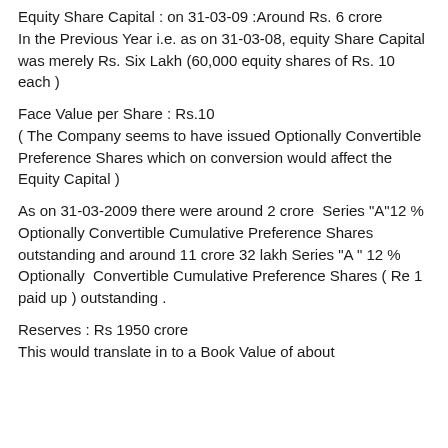Equity Share Capital : on 31-03-09 :Around Rs. 6 crore
In the Previous Year i.e. as on 31-03-08, equity Share Capital was merely Rs. Six Lakh (60,000 equity shares of Rs. 10 each )
Face Value per Share : Rs.10
( The Company seems to have issued Optionally Convertible Preference Shares which on conversion would affect the Equity Capital )
As on 31-03-2009 there were around 2 crore Series "A"12 % Optionally Convertible Cumulative Preference Shares outstanding and around 11 crore 32 lakh Series "A " 12 % Optionally Convertible Cumulative Preference Shares ( Re 1 paid up ) outstanding .
Reserves : Rs 1950 crore
This would translate in to a Book Value of about